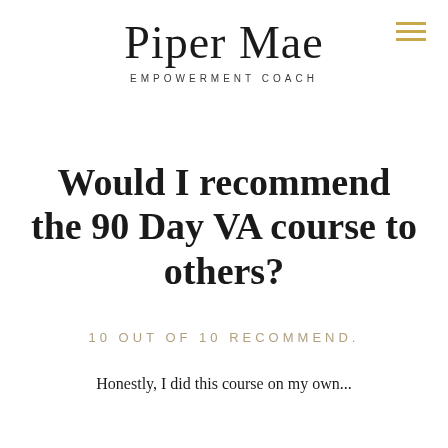Piper Mae
EMPOWERMENT COACH
Would I recommend the 90 Day VA course to others?
10 OUT OF 10 RECOMMEND.
Honestly, I did this course on my own...